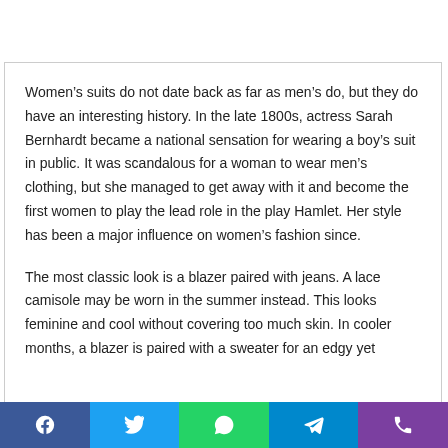Women's suits do not date back as far as men's do, but they do have an interesting history. In the late 1800s, actress Sarah Bernhardt became a national sensation for wearing a boy's suit in public. It was scandalous for a woman to wear men's clothing, but she managed to get away with it and become the first women to play the lead role in the play Hamlet. Her style has been a major influence on women's fashion since.
The most classic look is a blazer paired with jeans. A lace camisole may be worn in the summer instead. This looks feminine and cool without covering too much skin. In cooler months, a blazer is paired with a sweater for an edgy yet